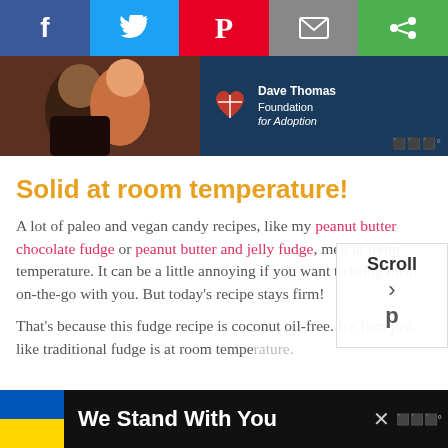[Figure (screenshot): Social sharing bar with Facebook, Twitter, Pinterest, Email, and another icon buttons]
[Figure (screenshot): Advertisement banner for Dave Thomas Foundation for Adoption with photo of people and heart logo]
Solid at room temperature!
A lot of paleo and vegan candy recipes, like my peanut butter chocolate fudge or peanut butter and jelly fudge, melt at room temperature. It can be a little annoying if you want to bring them on-the-go with you. But today's recipe stays firm!
That's because this fudge recipe is coconut oil-free. It's firm just like traditional fudge is at room temperature.
[Figure (screenshot): Scroll popup overlay with text 'Scroll']
[Figure (screenshot): Footer advertisement with Ukrainian flag and text 'We Stand With You']